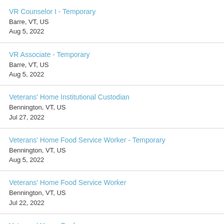VR Counselor I - Temporary
Barre, VT, US
Aug 5, 2022
VR Associate - Temporary
Barre, VT, US
Aug 5, 2022
Veterans' Home Institutional Custodian
Bennington, VT, US
Jul 27, 2022
Veterans' Home Food Service Worker - Temporary
Bennington, VT, US
Aug 5, 2022
Veterans' Home Food Service Worker
Bennington, VT, US
Jul 22, 2022
Veterans' Home Cook
Bennington, VT, US
Aug 6, 2022